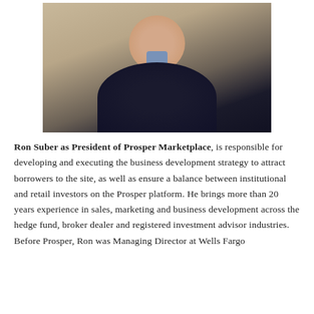[Figure (photo): Headshot photo of Ron Suber, a man in a dark sweater with light blue shirt collar, smiling, photographed against a warm stone/beige background.]
Ron Suber as President of Prosper Marketplace, is responsible for developing and executing the business development strategy to attract borrowers to the site, as well as ensure a balance between institutional and retail investors on the Prosper platform. He brings more than 20 years experience in sales, marketing and business development across the hedge fund, broker dealer and registered investment advisor industries.  Before Prosper, Ron was Managing Director at Wells Fargo